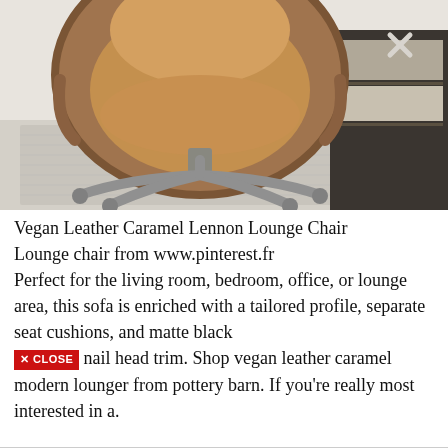[Figure (photo): Close-up photo of a caramel brown vegan leather egg-shaped lounge chair with a silver star-base swivel stand, sitting on a white/grey textured rug. Books and a decorative object are visible in the background.]
Vegan Leather Caramel Lennon Lounge Chair Lounge chair from www.pinterest.fr Perfect for the living room, bedroom, office, or lounge area, this sofa is enriched with a tailored profile, separate seat cushions, and matte black nail head trim. Shop vegan leather caramel modern lounger from pottery barn. If you're really most interested in a.